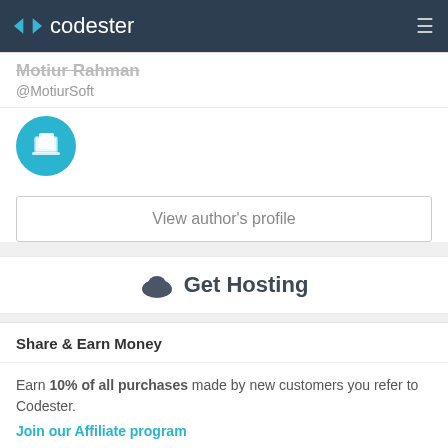codester
Motiur Rahman
@MotiurSoft
[Figure (logo): Circular teal avatar icon with a document/laptop graphic in white]
View author's profile
Get Hosting
Share & Earn Money
Earn 10% of all purchases made by new customers you refer to Codester.
Join our Affiliate program
Facebook